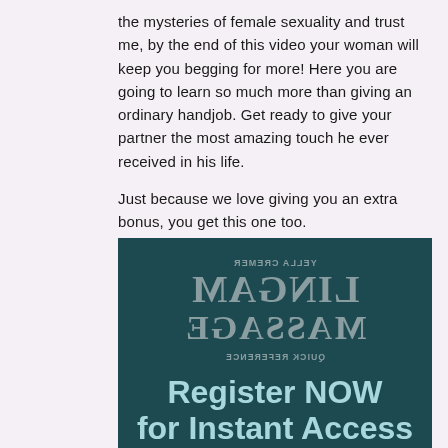the mysteries of female sexuality and trust me, by the end of this video your woman will keep you begging for more! Here you are going to learn so much more than giving an ordinary handjob. Get ready to give your partner the most amazing touch he ever received in his life.

Just because we love giving you an extra bonus, you get this one too.
[Figure (illustration): Book cover image shown mirrored/reversed for 'Lingam Massage Quick Reference' by Yella Cremer, with teal/dark green background. Overlaid text reads 'Register NOW for Instant Access' in large cyan/light blue letters.]